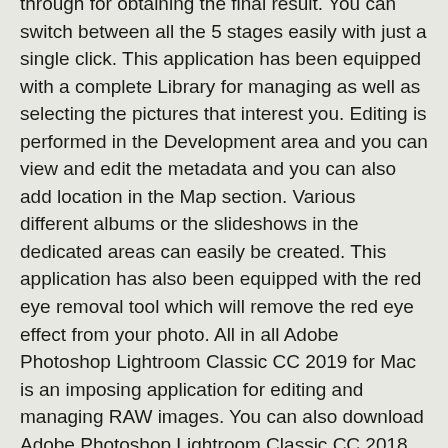through for obtaining the final result. You can switch between all the 5 stages easily with just a single click. This application has been equipped with a complete Library for managing as well as selecting the pictures that interest you. Editing is performed in the Development area and you can view and edit the metadata and you can also add location in the Map section. Various different albums or the slideshows in the dedicated areas can easily be created. This application has also been equipped with the red eye removal tool which will remove the red eye effect from your photo. All in all Adobe Photoshop Lightroom Classic CC 2019 for Mac is an imposing application for editing and managing RAW images. You can also download Adobe Photoshop Lightroom Classic CC 2018 v7.5.